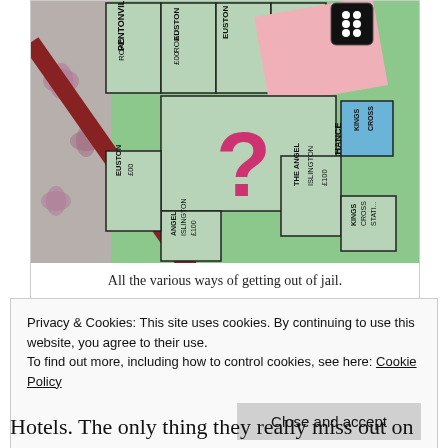[Figure (photo): A photograph of a Monopoly board game, angled view showing several board squares including Pentonville Road, Euston Road, Euston, The Angel Islington, Kings Cross Station, and a Community Chest/Chance square with a pink question mark. A pink card and dice are visible. The board is on a floral patterned surface.]
All the various ways of getting out of jail.
Privacy & Cookies: This site uses cookies. By continuing to use this website, you agree to their use.
To find out more, including how to control cookies, see here: Cookie Policy
Close and accept
Hotels. The only thing they really miss out on